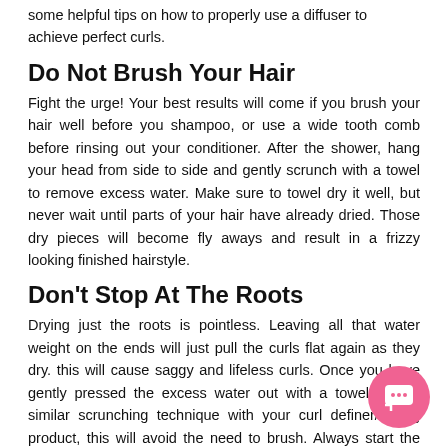some helpful tips on how to properly use a diffuser to achieve perfect curls.
Do Not Brush Your Hair
Fight the urge! Your best results will come if you brush your hair well before you shampoo, or use a wide tooth comb before rinsing out your conditioner. After the shower, hang your head from side to side and gently scrunch with a towel to remove excess water. Make sure to towel dry it well, but never wait until parts of your hair have already dried. Those dry pieces will become fly aways and result in a frizzy looking finished hairstyle.
Don't Stop At The Roots
Drying just the roots is pointless. Leaving all that water weight on the ends will just pull the curls flat again as they dry. this will cause saggy and lifeless curls. Once you have gently pressed the excess water out with a towel, use a similar scrunching technique with your curl definer/styling product, this will avoid the need to brush. Always start the diffusing process at the ends and work upwards s the hair dries. This allows the curls to spring up without the weight of the water pulling them down. To avoid fly-